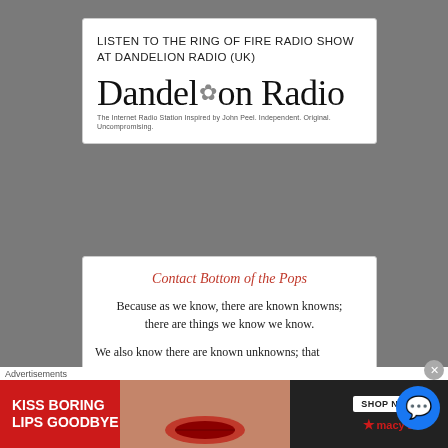LISTEN TO THE RING OF FIRE RADIO SHOW AT DANDELION RADIO (UK)
[Figure (logo): Dandelion Radio logo — serif text reading 'Dandelion Radio' with a dandelion seed illustration replacing the 'i'. Tagline: 'The Internet Radio Station Inspired by John Peel. Independent. Original. Uncompromising.']
Contact Bottom of the Pops
Because as we know, there are known knowns; there are things we know we know.
We also know there are known unknowns; that
Advertisements
[Figure (screenshot): Macy's advertisement banner: 'KISS BORING LIPS GOODBYE' with SHOP NOW button and Macy's star logo on dark background, woman's face on red background.]